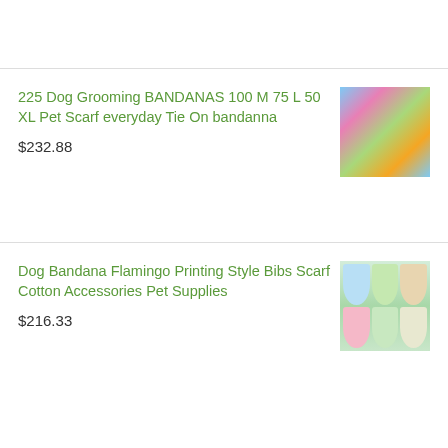225 Dog Grooming BANDANAS 100 M 75 L 50 XL Pet Scarf everyday Tie On bandanna
$232.88
[Figure (photo): Colorful dog bandanas in various patterns]
Dog Bandana Flamingo Printing Style Bibs Scarf Cotton Accessories Pet Supplies
$216.33
[Figure (photo): Six dog bandanas in flamingo/floral print patterns arranged in a grid]
f  G+  t  in  p  < 0 SHARES